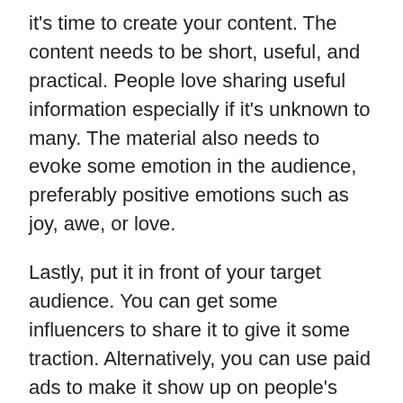it's time to create your content. The content needs to be short, useful, and practical. People love sharing useful information especially if it's unknown to many. The material also needs to evoke some emotion in the audience, preferably positive emotions such as joy, awe, or love.
Lastly, put it in front of your target audience. You can get some influencers to share it to give it some traction. Alternatively, you can use paid ads to make it show up on people's timelines. Creating viral content is a delicate art and getting it right the first time around is no guarantee. It would be advisable to hire a viral content marketer if you have the budget for it.